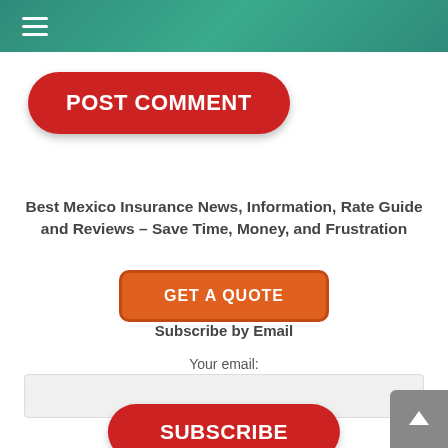☰
POST COMMENT
Best Mexico Insurance News, Information, Rate Guide and Reviews – Save Time, Money, and Frustration
GET A QUOTE
Subscribe by Email
Your email:
SUBSCRIBE